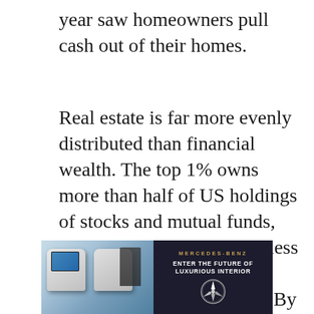year saw homeowners pull cash out of their homes.
Real estate is far more evenly distributed than financial wealth. The top 1% owns more than half of US holdings of stocks and mutual funds, and the bottom 90% owns less than 12%, according to Federal Reserve estimates. By contrast, in real estate the bottom 90% owns more than half of the total, while the top 1% holds less than 14%.
“Higher home prices and sharply higher mortgage rates have reduced buyer
[Figure (photo): Mercedes-Benz advertisement banner showing luxury car interior with white leather seats and rear entertainment screens. Text reads 'MERCEDES-BENZ ENTER THE FUTURE OF LUXURIOUS INTERIOR' with the Mercedes three-pointed star logo.]